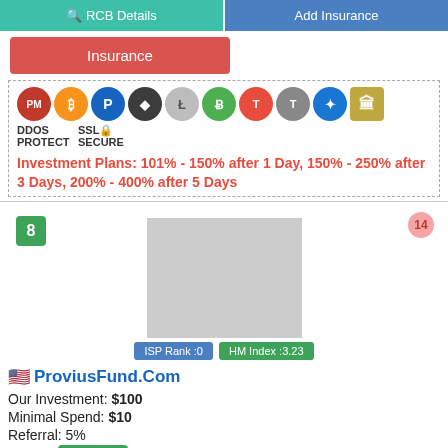[Figure (screenshot): Top navigation buttons: RCB Details (teal) and Add Insurance (blue)]
[Figure (screenshot): Insurance button (red/salmon color)]
[Figure (infographic): Row of cryptocurrency and security icons: PM, Bitcoin, PayPal, Ethereum, Litecoin, Bitcoin Cash, TUSD red, TUSD grey, blue globe, bank, DDOS Protect, SSL Secure]
Investment Plans: 101% - 150% after 1 Day, 150% - 250% after 3 Days, 200% - 400% after 5 Days
[Figure (screenshot): Number badge '8' (green), number badge '14' (pink/red), grey placeholder logo image, ISP Rank:0 (blue badge), HM Index:3.23 (green badge)]
ProviusFund.Com
Our Investment: $100
Minimal Spend: $10
Referral: 5%
Status: ✔ Paying
Online: 2022-05-01 (120 D)